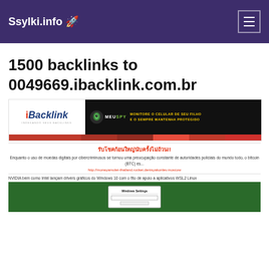Ssylki.info 🚀
1500 backlinks to 0049669.ibacklink.com.br
[Figure (screenshot): Screenshot of ibacklink.com.br website showing iBacklink logo, MeuSpy banner advertisement, and navigation bar with red menu items]
รับโชคก้อนใหญ่นับครั้งไม่ถ้วน!!
Enquanto o uso de moedas digitais por cibercriminosos se tornou uma preocupação constante de autoridades policiais do mundo todo, o bitcoin (BTC) es...
http://moneyamulet-thailand.rocket.denisyakonlev.moscow
NVIDIA bem como Intel lançam drivers gráficos do Windows 10 com o fito de apoio a aplicativos WSL2 Linux
[Figure (screenshot): Screenshot of Windows Settings dialog on dark green background]